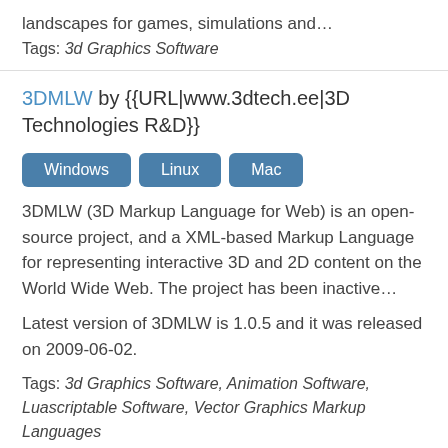landscapes for games, simulations and…
Tags: 3d Graphics Software
3DMLW by {{URL|www.3dtech.ee|3D Technologies R&D}}
Windows Linux Mac
3DMLW (3D Markup Language for Web) is an open-source project, and a XML-based Markup Language for representing interactive 3D and 2D content on the World Wide Web. The project has been inactive…
Latest version of 3DMLW is 1.0.5 and it was released on 2009-06-02.
Tags: 3d Graphics Software, Animation Software, Luascriptable Software, Vector Graphics Markup Languages
ASiProfile by JTR-Paul Schneider